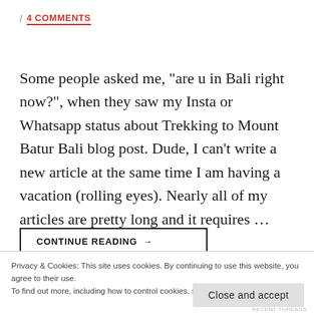/ 4 COMMENTS
Some people asked me, "are u in Bali right now?", when they saw my Insta or Whatsapp status about Trekking to Mount Batur Bali blog post. Dude, I can't write a new article at the same time I am having a vacation (rolling eyes). Nearly all of my articles are pretty long and it requires …
CONTINUE READING →
Privacy & Cookies: This site uses cookies. By continuing to use this website, you agree to their use.
To find out more, including how to control cookies, see here: Cookie Policy
Close and accept